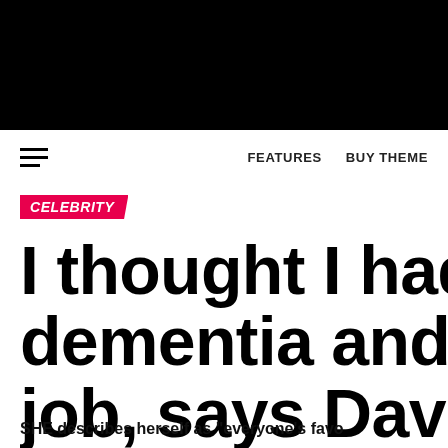[Figure (other): Black navigation header bar at top of webpage]
FEATURES   BUY THEME
CELEBRITY
I thought I had so dementia and wa job, says Davina
SHE describes herself as "everyone's favo